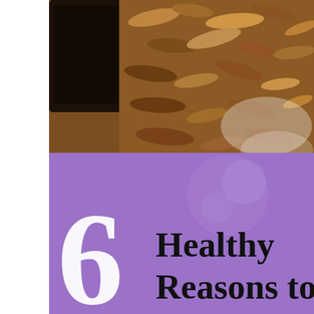[Figure (photo): Close-up photo of dark chocolate bar with chocolate shavings/curls on white background]
[Figure (infographic): Purple banner with large white numeral '6' and black text reading 'Healthy Reasons to Eat Dark Chocolate']
6 Heatlhy Reasons To Eat Dark Chocolate Dark Chocolate Benefits Health Food Facts
[Figure (photo): Three thumbnail images of plants/herbs/flowers side by side]
0 SHARES
f
t (Twitter bird)
P (Pinterest)
t (Tumblr)
+